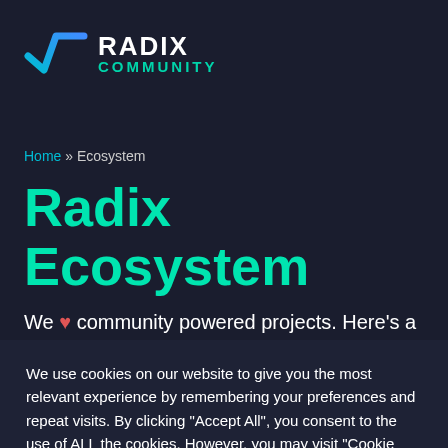[Figure (logo): Radix Community logo with checkmark/radical sign icon in blue-green gradient and text RADIX COMMUNITY]
Home » Ecosystem
Radix Ecosystem
We ♥ community powered projects. Here's a
We use cookies on our website to give you the most relevant experience by remembering your preferences and repeat visits. By clicking "Accept All", you consent to the use of ALL the cookies. However, you may visit "Cookie Settings" to provide a controlled consent.